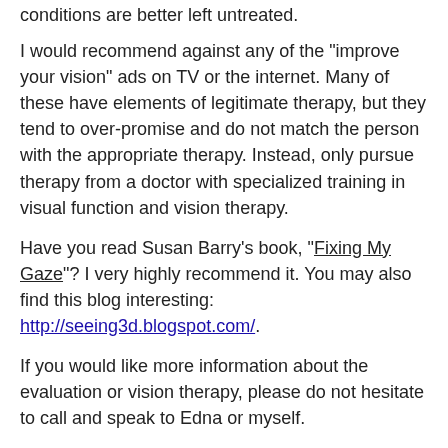conditions are better left untreated.
I would recommend against any of the "improve your vision" ads on TV or the internet. Many of these have elements of legitimate therapy, but they tend to over-promise and do not match the person with the appropriate therapy. Instead, only pursue therapy from a doctor with specialized training in visual function and vision therapy.
Have you read Susan Barry's book, "Fixing My Gaze"? I very highly recommend it. You may also find this blog interesting: http://seeing3d.blogspot.com/.
If you would like more information about the evaluation or vision therapy, please do not hesitate to call and speak to Edna or myself.
Best Wishes.
[Figure (illustration): Handwritten cursive signature reading Dr. Nate]
Nathan Bonilla-Warford, OD